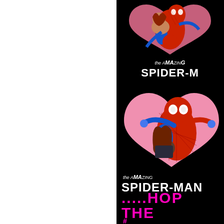[Figure (illustration): Comic book cover image showing two panels of The Amazing Spider-Man. Top panel (partially visible, smaller): Spider-Man holding a woman in a heart-shaped frame on a black background with the title 'the Amazing Spider-Man'. Bottom panel (larger): Spider-Man and a woman (Mary Jane) in an embrace within a pink heart shape on black background, with title 'the Amazing Spider-Man', pink text reading '.....HOP' and 'THE', and a hashtag in pink. Left ~79% of the page is white/blank.]